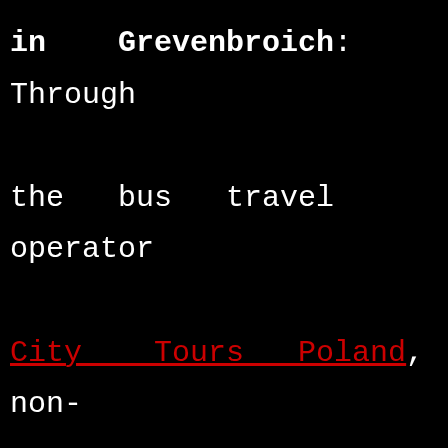in Grevenbroich: Through the bus travel operator City Tours Poland, non-corporate parties and corporate parties are welcome to book a range of well-maintained limousines, sedans and cars for